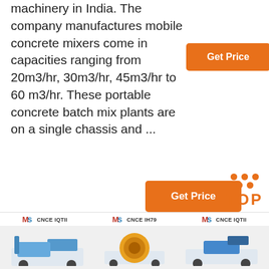machinery in India. The company manufactures mobile concrete mixers come in capacities ranging from 20m3/hr, 30m3/hr, 45m3/hr to 60 m3/hr. These portable concrete batch mix plants are on a single chassis and ...
[Figure (screenshot): Orange 'Get Price' button (top right)]
[Figure (screenshot): Dark blue chat box with '24/7 Online' header, customer service person photo, 'Click here for free chat!' text, and orange 'QUOTATION' button]
[Figure (screenshot): Orange 'Get Price' button (bottom center)]
[Figure (screenshot): Three machinery logos and machine images at bottom of page]
[Figure (screenshot): Orange TOP button with dots in top-right formation, bottom right corner]